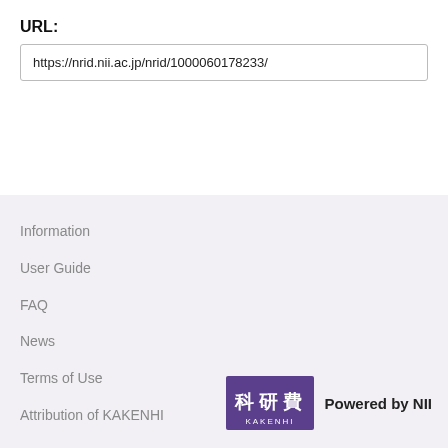URL:
https://nrid.nii.ac.jp/nrid/1000060178233/
Information
User Guide
FAQ
News
Terms of Use
Attribution of KAKENHI
[Figure (logo): KAKENHI logo with purple background and Japanese characters 科研費, text below KAKENHI, and 'Powered by NII' text beside it]